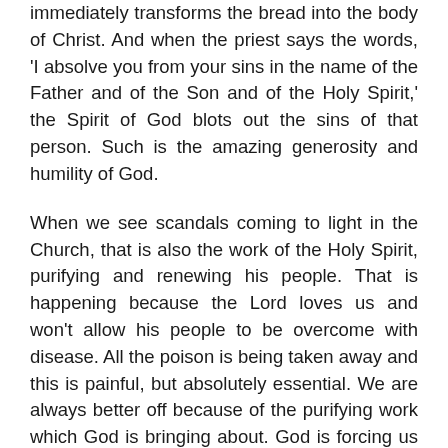immediately transforms the bread into the body of Christ. And when the priest says the words, 'I absolve you from your sins in the name of the Father and of the Son and of the Holy Spirit,' the Spirit of God blots out the sins of that person. Such is the amazing generosity and humility of God.
When we see scandals coming to light in the Church, that is also the work of the Holy Spirit, purifying and renewing his people. That is happening because the Lord loves us and won't allow his people to be overcome with disease. All the poison is being taken away and this is painful, but absolutely essential. We are always better off because of the purifying work which God is bringing about. God is forcing us to rely much more on the power of his Word and of his Spirit, something which we should have